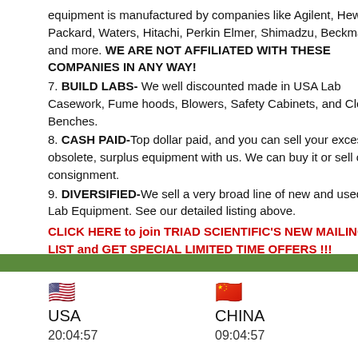equipment is manufactured by companies like Agilent, Hewlett Packard, Waters, Hitachi, Perkin Elmer, Shimadzu, Beckman, and more. WE ARE NOT AFFILIATED WITH THESE COMPANIES IN ANY WAY!
7. BUILD LABS- We well discounted made in USA Lab Casework, Fume hoods, Blowers, Safety Cabinets, and Clean Benches.
8. CASH PAID-Top dollar paid, and you can sell your excess, obsolete, surplus equipment with us. We can buy it or sell on consignment.
9. DIVERSIFIED-We sell a very broad line of new and used Lab Equipment. See our detailed listing above.
CLICK HERE to join TRIAD SCIENTIFIC'S NEW MAILING LIST and GET SPECIAL LIMITED TIME OFFERS !!!
[Figure (infographic): Green horizontal bar separating content from footer]
USA flag emoji, USA, 20:04:57
China flag emoji, CHINA, 09:04:57